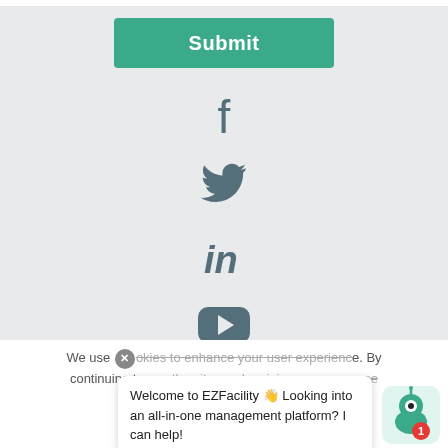[Figure (screenshot): Submit button (green) followed by social media icons: Facebook, Twitter, LinkedIn, YouTube on a light gray background]
We use cookies to enhance your user experience. By continuing to use the site, you're giving us your consent to our use of cookies.
Welcome to EZFacility 👋 Looking into an all-in-one management platform? I can help!
Accept   Read More